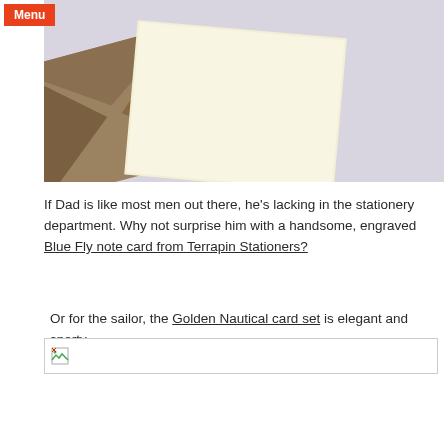[Figure (photo): Photo of a kraft paper envelope and a cream/ivory card or note card overlapping on a light gray background]
If Dad is like most men out there, he’s lacking in the stationery department. Why not surprise him with a handsome, engraved Blue Fly note card from Terrapin Stationers?
Or for the sailor, the Golden Nautical card set is elegant and sporty
[Figure (photo): Broken image placeholder]